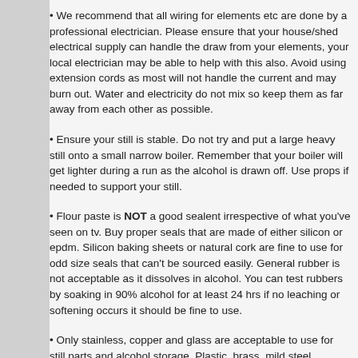• We recommend that all wiring for elements etc are done by a professional electrician. Please ensure that your house/shed electrical supply can handle the draw from your elements, your local electrician may be able to help with this also. Avoid using extension cords as most will not handle the current and may burn out. Water and electricity do not mix so keep them as far away from each other as possible.
• Ensure your still is stable. Do not try and put a large heavy still onto a small narrow boiler. Remember that your boiler will get lighter during a run as the alcohol is drawn off. Use props if needed to support your still.
• Flour paste is NOT a good sealent irrespective of what you've seen on tv. Buy proper seals that are made of either silicon or epdm. Silicon baking sheets or natural cork are fine to use for odd size seals that can't be sourced easily. General rubber is not acceptable as it dissolves in alcohol. You can test rubbers by soaking in 90% alcohol for at least 24 hrs if no leaching or softening occurs it should be fine to use.
• Only stainless, copper and glass are acceptable to use for still parts and alcohol storage. Plastic, brass, mild steel, galvanized steel and aluminum are not suitable as they will leach into your spirit. Remember alcohol is a solvent similar to petrol.
• While enjoying a drink is one of the main reasons we do this hobby drinking while running your still is NOT recommended as we all get a bit relaxed after a few and we need our wits about us if something were to go wrong. A quick reaction time could be the difference between a near miss and a bloody big mess. Please drink responsibly guys.